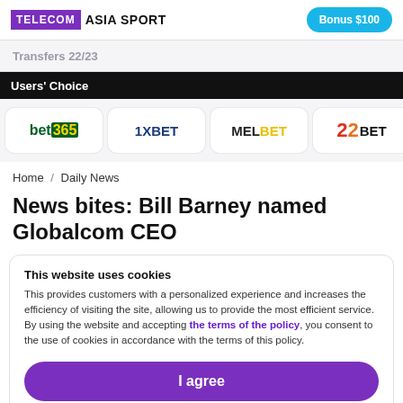TELECOM ASIA SPORT | Bonus $100
Transfers 22/23
Users' Choice
[Figure (logo): Betting logos row: bet365, 1XBET, MELBET, 22BET]
Home / Daily News
News bites: Bill Barney named Globalcom CEO
This website uses cookies
This provides customers with a personalized experience and increases the efficiency of visiting the site, allowing us to provide the most efficient service. By using the website and accepting the terms of the policy, you consent to the use of cookies in accordance with the terms of this policy.
I agree